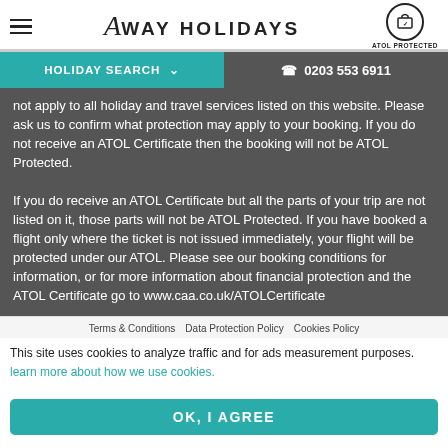Away Holidays | ATOL Protected
HOLIDAY SEARCH ∨   📞 0203 553 6911
not apply to all holiday and travel services listed on this website. Please ask us to confirm what protection may apply to your booking. If you do not receive an ATOL Certificate then the booking will not be ATOL Protected.

If you do receive an ATOL Certificate but all the parts of your trip are not listed on it, those parts will not be ATOL Protected. If you have booked a flight only where the ticket is not issued immediately, your flight will be protected under our ATOL. Please see our booking conditions for information, or for more information about financial protection and the ATOL Certificate go to www.caa.co.uk/ATOLCertificate
Terms & Conditions   Data Protection Policy   Cookies Policy
This site uses cookies to analyze traffic and for ads measurement purposes. learn more about how we use cookies.
OK, I AGREE